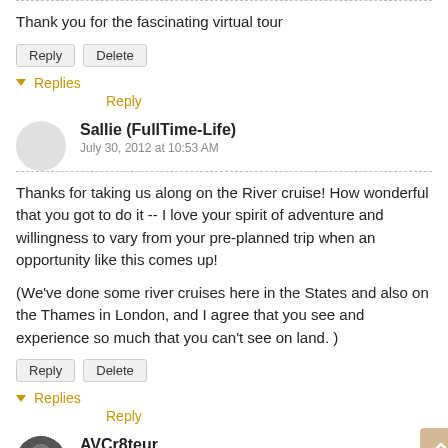Thank you for the fascinating virtual tour
Reply | Delete
▾ Replies
Reply
Sallie (FullTime-Life)
July 30, 2012 at 10:53 AM
Thanks for taking us along on the River cruise! How wonderful that you got to do it -- I love your spirit of adventure and willingness to vary from your pre-planned trip when an opportunity like this comes up!
(We've done some river cruises here in the States and also on the Thames in London, and I agree that you see and experience so much that you can't see on land. )
Reply | Delete
▾ Replies
Reply
AVCr8teur
July 30, 2012 at 11:53 AM
I never knew such a tour existed. It would be a different view of the